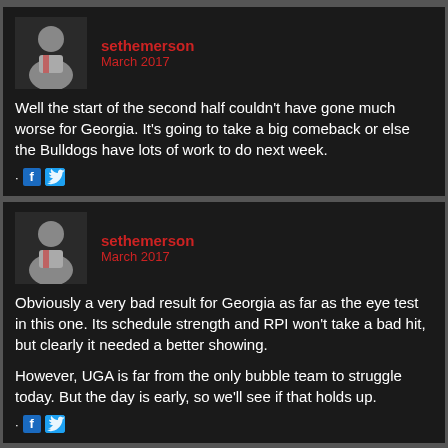sethemerson
March 2017
Well the start of the second half couldn't have gone much worse for Georgia. It's going to take a big comeback or else the Bulldogs have lots of work to do next week.
sethemerson
March 2017
Obviously a very bad result for Georgia as far as the eye test in this one. Its schedule strength and RPI won't take a bad hit, but clearly it needed a better showing.

However, UGA is far from the only bubble team to struggle today. But the day is early, so we'll see if that holds up.